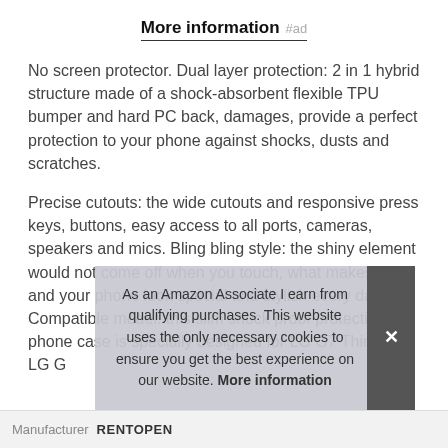More information #ad
No screen protector. Dual layer protection: 2 in 1 hybrid structure made of a shock-absorbent flexible TPU bumper and hard PC back, damages, provide a perfect protection to your phone against shocks, dusts and scratches.
Precise cutouts: the wide cutouts and responsive press keys, buttons, easy access to all ports, cameras, speakers and mics. Bling bling style: the shiny element would not come off when you touch, what makes you and your phone look special and stylish every day. Compatible model: this slim shock proof protective phone case is specially designed for LG G7 ThinQ / LG G…
As an Amazon Associate I earn from qualifying purchases. This website uses the only necessary cookies to ensure you get the best experience on our website. More information
Manufacturer  RENTOPEN